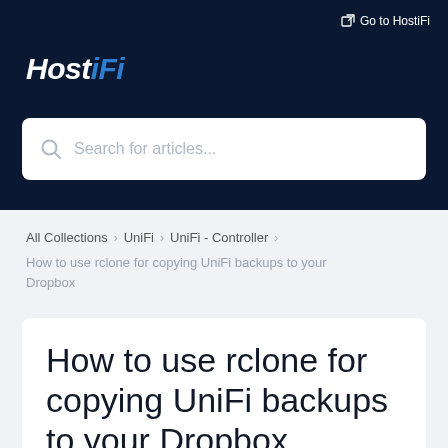Go to HostiFi
HostiFi
Search for articles...
All Collections > UniFi > UniFi - Controller >
How to use rclone for copying UniFi backups to your Dropbox
How to use rclone for copying UniFi backups to your Dropbox